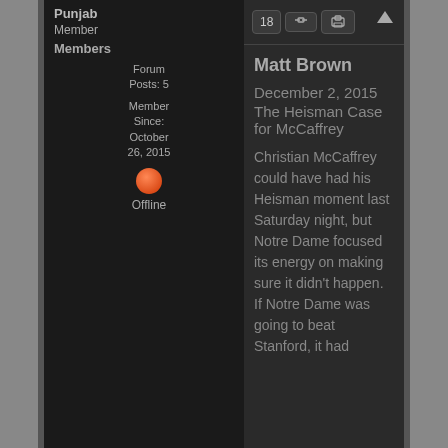Punjab
Member
Members
Forum Posts: 5
Member Since: October 26, 2015
[Figure (illustration): Orange offline status dot indicator]
Offline
18
Matt Brown
December 2, 2015
The Heisman Case for McCaffrey
Christian McCaffrey could have had his Heisman moment last Saturday night, but Notre Dame focused its energy on making sure it didn't happen. If Notre Dame was going to beat Stanford, it had